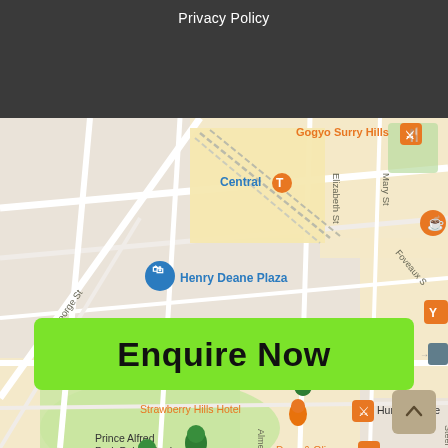Privacy Policy
[Figure (map): Google Maps view of Sydney CBD area near Central Station, showing streets including George St, Elizabeth St, Mary St, Foveaux St, Cooper St. Locations marked include Gogyo Surry Hills, Central (train station), Henry Deane Plaza, Fitness Playground, Strawberry Hills Hotel, Prince Alfred Park Public Pool, Canva, Humble Bake, Dove & Olive.]
Enquire Now